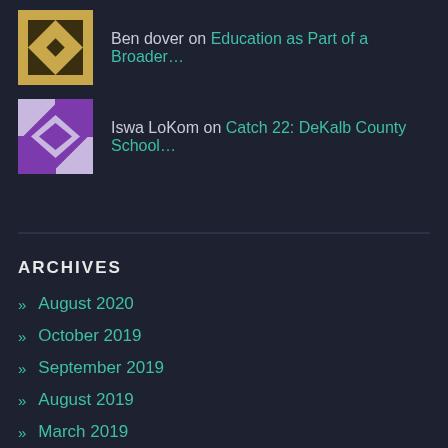Ben dover on Education as Part of a Broader…
Iswa LoKom on Catch 22: DeKalb County School…
ARCHIVES
» August 2020
» October 2019
» September 2019
» August 2019
» March 2019
» January 2019
» August 2018
» April 2018